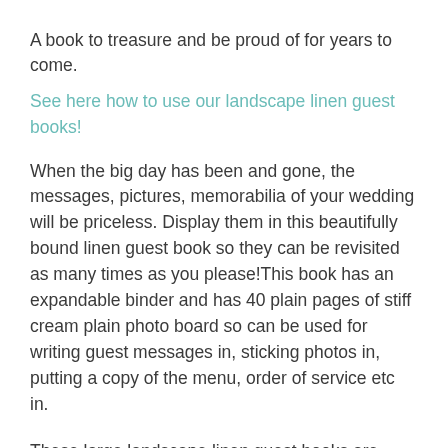A book to treasure and be proud of for years to come.
See here how to use our landscape linen guest books!
When the big day has been and gone, the messages, pictures, memorabilia of your wedding will be priceless. Display them in this beautifully bound linen guest book so they can be revisited as many times as you please!This book has an expandable binder and has 40 plain pages of stiff cream plain photo board so can be used for writing guest messages in, sticking photos in, putting a copy of the menu, order of service etc in.
These large landscape linen guest books are bound